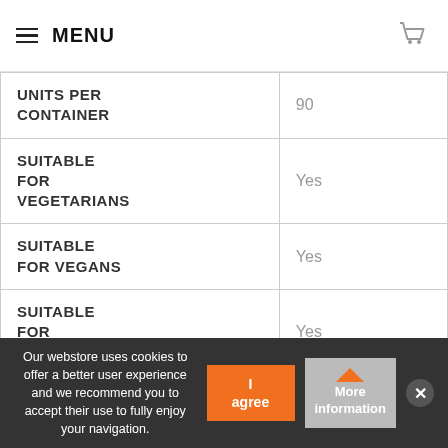MENU
| UNITS PER CONTAINER | 90 |
| SUITABLE FOR VEGETARIANS | Yes |
| SUITABLE FOR VEGANS | Yes |
| SUITABLE FOR COELIACS | Yes |
| SUITABLE FOR DIABETICS | Yes |
| CONTAINS LACTOSE |  |
Our webstore uses cookies to offer a better user experience and we recommend you to accept their use to fully enjoy your navigation.